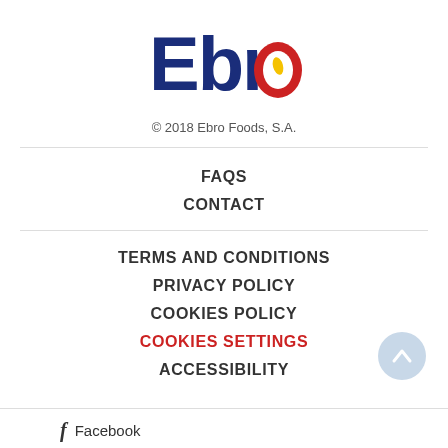[Figure (logo): Ebro Foods logo - colorful stylized text 'Ebro' with blue and red letters and a yellow/red oval 'o']
© 2018 Ebro Foods, S.A.
FAQS
CONTACT
TERMS AND CONDITIONS
PRIVACY POLICY
COOKIES POLICY
COOKIES SETTINGS
ACCESSIBILITY
Facebook